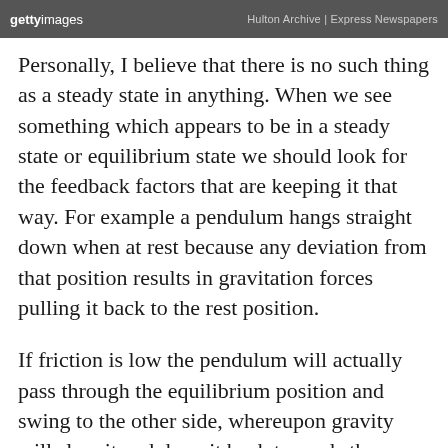gettyimages  Hulton Archive | Express Newspapers
Personally, I believe that there is no such thing as a steady state in anything. When we see something which appears to be in a steady state or equilibrium state we should look for the feedback factors that are keeping it that way. For example a pendulum hangs straight down when at rest because any deviation from that position results in gravitation forces pulling it back to the rest position.
If friction is low the pendulum will actually pass through the equilibrium position and swing to the other side, whereupon gravity will slow it and draw it back towards the equilibrium position again. Eventually friction will slow the